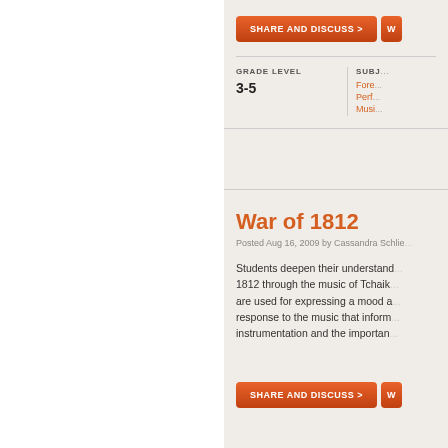SHARE AND DISCUSS >
GRADE LEVEL
3-5
SUBJ...
Fore...
Perf...
Musi...
War of 1812
Posted Aug 16, 2009 by Cassandra Schlie...
Students deepen their understanding of the War of 1812 through the music of Tchaik... are used for expressing a mood a... response to the music that inform... instrumentation and the importan...
SHARE AND DISCUSS >